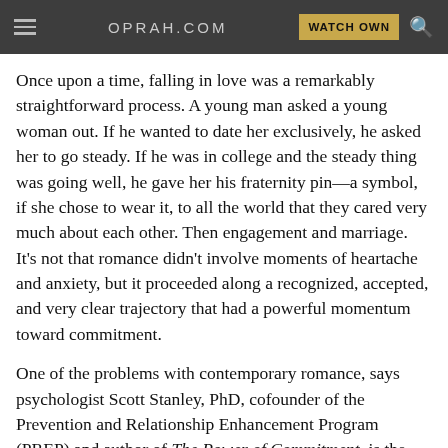OPRAH.COM | WATCH OWN
Once upon a time, falling in love was a remarkably straightforward process. A young man asked a young woman out. If he wanted to date her exclusively, he asked her to go steady. If he was in college and the steady thing was going well, he gave her his fraternity pin—a symbol, if she chose to wear it, to all the world that they cared very much about each other. Then engagement and marriage. It's not that romance didn't involve moments of heartache and anxiety, but it proceeded along a recognized, accepted, and very clear trajectory that had a powerful momentum toward commitment.
One of the problems with contemporary romance, says psychologist Scott Stanley, PhD, cofounder of the Prevention and Relationship Enhancement Program (PREP) and author of The Power of Commitment, is the absence of those instantly recognizable and often public markers of commitment. It's not that he thinks women today should get pinned, exactly, but without the traditional signposts, couples tend to slide into relationships they haven't thought much about and they each value differently. For instance, you're very touched